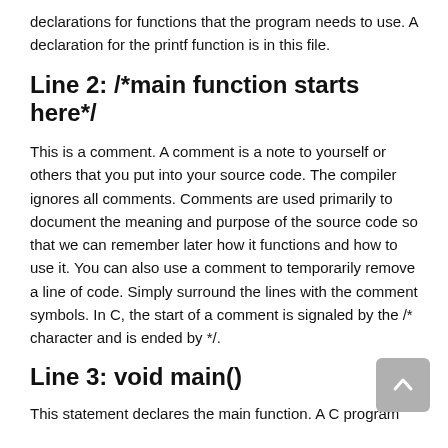declarations for functions that the program needs to use. A declaration for the printf function is in this file.
Line 2: /*main function starts here*/
This is a comment. A comment is a note to yourself or others that you put into your source code. The compiler ignores all comments. Comments are used primarily to document the meaning and purpose of the source code so that we can remember later how it functions and how to use it. You can also use a comment to temporarily remove a line of code. Simply surround the lines with the comment symbols. In C, the start of a comment is signaled by the /* character and is ended by */.
Line 3: void main()
This statement declares the main function. A C program